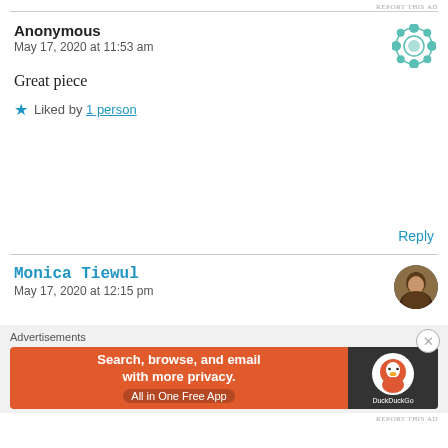REPORT THIS AD
Anonymous
May 17, 2020 at 11:53 am
Great piece
Liked by 1 person
Reply
Monica Tiewul
May 17, 2020 at 12:15 pm
Advertisements
Search, browse, and email with more privacy. All in One Free App. DuckDuckGo
REPORT THIS AD